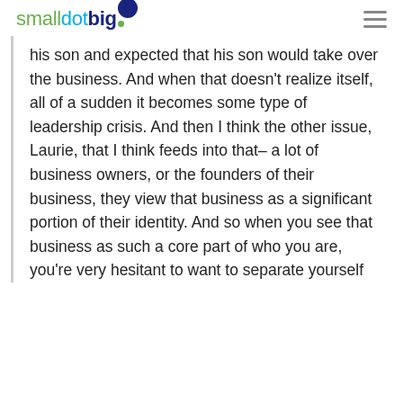smalldotbig
his son and expected that his son would take over the business. And when that doesn't realize itself, all of a sudden it becomes some type of leadership crisis. And then I think the other issue, Laurie, that I think feeds into that– a lot of business owners, or the founders of their business, they view that business as a significant portion of their identity. And so when you see that business as such a core part of who you are, you're very hesitant to want to separate yourself